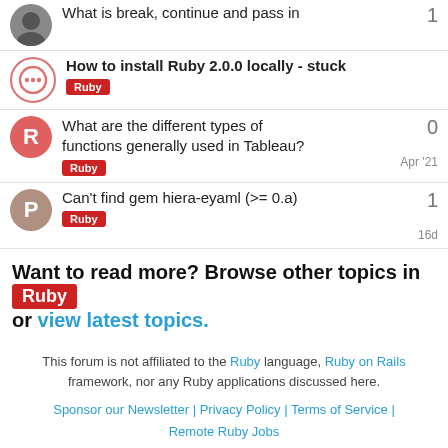What is break, continue and pass in
How to install Ruby 2.0.0 locally - stuck [Ruby tag]
What are the different types of functions generally used in Tableau? [Ruby tag] Apr '21 — 0 replies
Can't find gem hiera-eyaml (>= 0.a) [Ruby tag] 16d — 1 reply
Want to read more? Browse other topics in Ruby or view latest topics.
This forum is not affiliated to the Ruby language, Ruby on Rails framework, nor any Ruby applications discussed here.
Sponsor our Newsletter | Privacy Policy | Terms of Service | Remote Ruby Jobs